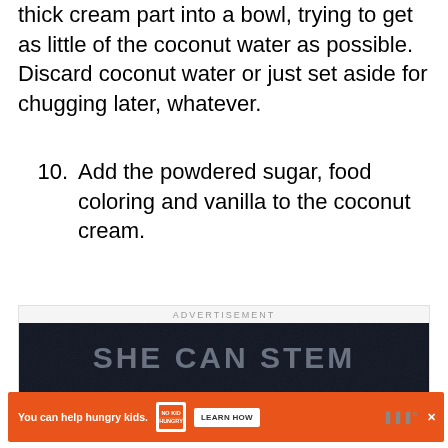thick cream part into a bowl, trying to get as little of the coconut water as possible. Discard coconut water or just set aside for chugging later, whatever.
10. Add the powdered sugar, food coloring and vanilla to the coconut cream.
[Figure (other): Advertisement banner with dark background showing text 'SHE CAN STEM' in large gray letters]
[Figure (other): Orange advertisement banner: 'You can help hungry kids.' with No Kid Hungry logo and 'LEARN HOW' button, and Weather Underground logo on right]